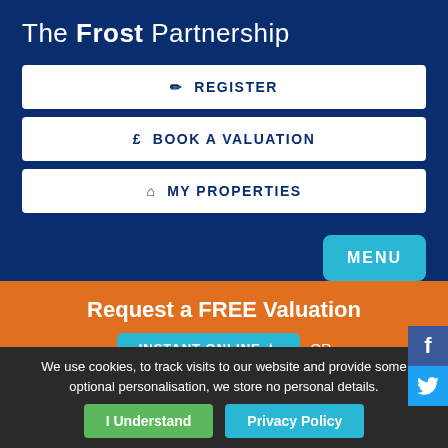The Frost Partnership
✏ REGISTER
£  BOOK A VALUATION
⌂ MY PROPERTIES
MENU
Request a FREE Valuation
INSTANT ONLINE ☆ OR
We use cookies, to track visits to our website and provide some optional personalisation, we store no personal details.
I Understand
Privacy Policy